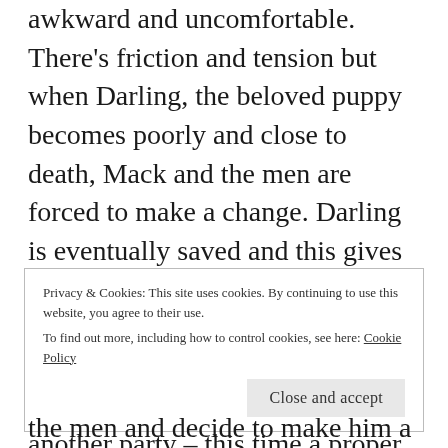awkward and uncomfortable. There's friction and tension but when Darling, the beloved puppy becomes poorly and close to death, Mack and the men are forced to make a change. Darling is eventually saved and this gives the men a new lease of life. It is joy and not despair that is running through Cannery Row. As a result, the men decide to throw Doc another party – this time a proper one like he deserves. It becomes an effort of all the people of Cannery
Privacy & Cookies: This site uses cookies. By continuing to use this website, you agree to their use.
To find out more, including how to control cookies, see here: Cookie Policy
the men and decide to make him a